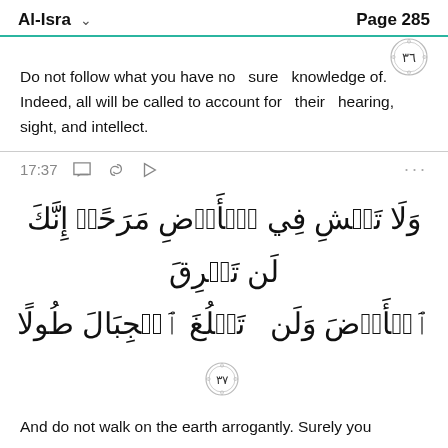Al-Isra   Page 285
Do not follow what you have no  sure  knowledge of. Indeed, all will be called to account for  their  hearing, sight, and intellect.
17:37
[Figure (other): Arabic verse text: وَلَا تَمۡشِ فِي ٱلۡأَرۡضِ مَرَحًاۖ إِنَّكَ لَن تَخۡرِقَ ٱلۡأَرۡضَ وَلَن تَبۡلُغَ ٱلۡجِبَالَ طُولًا with verse number 37 ornament]
And do not walk on the earth arrogantly. Surely you